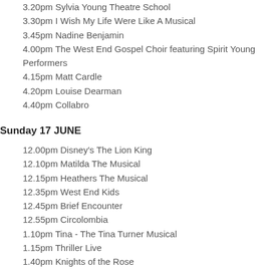3.20pm Sylvia Young Theatre School
3.30pm I Wish My Life Were Like A Musical
3.45pm Nadine Benjamin
4.00pm The West End Gospel Choir featuring Spirit Young Performers
4.15pm Matt Cardle
4.20pm Louise Dearman
4.40pm Collabro
Sunday 17 JUNE
12.00pm Disney's The Lion King
12.10pm Matilda The Musical
12.15pm Heathers The Musical
12.35pm West End Kids
12.45pm Brief Encounter
12.55pm Circolombia
1.10pm Tina - The Tina Turner Musical
1.15pm Thriller Live
1.40pm Knights of the Rose
1.55pm Kiss Me, Kate